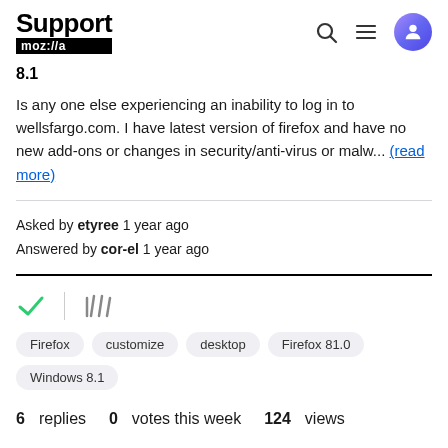Support moz://a
8.1
Is any one else experiencing an inability to log in to wellsfargo.com. I have latest version of firefox and have no new add-ons or changes in security/anti-virus or malw... (read more)
Asked by etyree 1 year ago
Answered by cor-el 1 year ago
[Figure (other): Checkmark icon and library/stack icon row]
Firefox  customize  desktop  Firefox 81.0  Windows 8.1
6 replies  0 votes this week  124 views